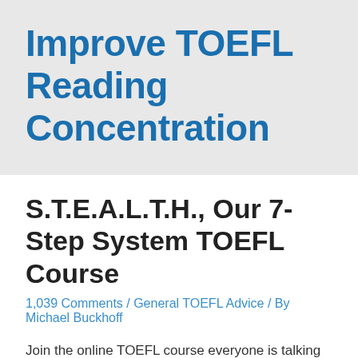Improve TOEFL Reading Concentration
S.T.E.A.L.T.H., Our 7-Step System TOEFL Course
1,039 Comments / General TOEFL Advice / By Michael Buckhoff
Join the online TOEFL course everyone is talking about. Get your pronunciation, TPO speaking, and TPO writing practice tests evaluated for one LOW monthly price. Have access to more than 1,700 TOEFL lessons to help you improve your vocabulary,